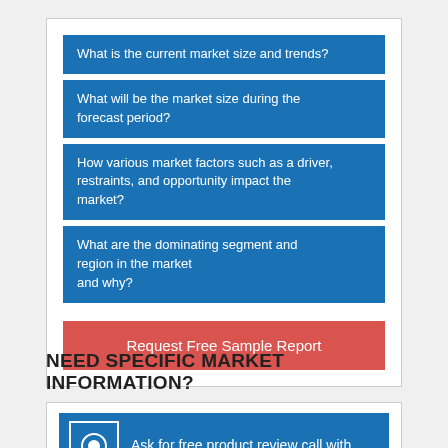What is the current market size and trends?
What will be the market size during the forecast period?
How various market factors such as a driver, restraints, and opportunity impact the market?
What are the dominating segment and region in the market and why?
Request Free Sample Report
NEED SPECIFIC MARKET INFORMATION?
Ask for free product review call with